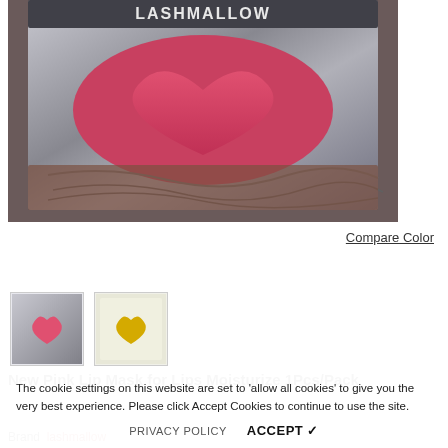[Figure (photo): Close-up product photo of a pink lip mask packet in silver foil packaging with LASHMALLOW branding visible at top. The packet shows a pink heart/lip shaped mask inside the transparent section.]
Compare Color
[Figure (photo): Thumbnail image of pink lip mask product in silver foil packaging]
[Figure (photo): Thumbnail image of yellow/gold lip mask product in white packaging]
New Pink Lip Mask for Lips Moisturize 1Pcs/Pack
The cookie settings on this website are set to 'allow all cookies' to give you the very best experience. Please click Accept Cookies to continue to use the site.
PRIVACY POLICY
ACCEPT ✓
Brand
lashmallow